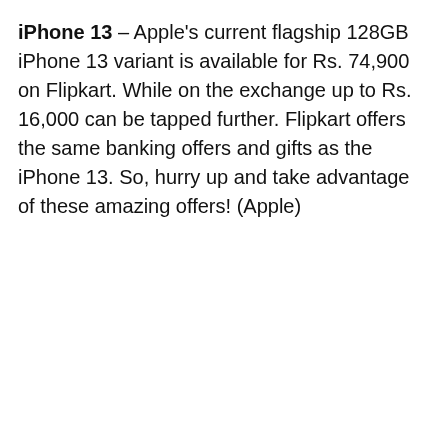iPhone 13 – Apple's current flagship 128GB iPhone 13 variant is available for Rs. 74,900 on Flipkart. While on the exchange up to Rs. 16,000 can be tapped further. Flipkart offers the same banking offers and gifts as the iPhone 13. So, hurry up and take advantage of these amazing offers! (Apple)